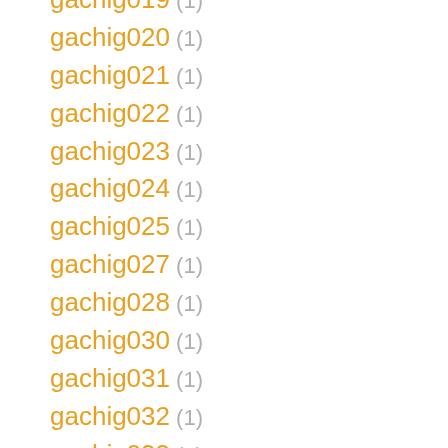gachig019 (1)
gachig020 (1)
gachig021 (1)
gachig022 (1)
gachig023 (1)
gachig024 (1)
gachig025 (1)
gachig027 (1)
gachig028 (1)
gachig030 (1)
gachig031 (1)
gachig032 (1)
gachig033 (1)
gachig034 (1)
gachig035 (1)
gachig037 (1)